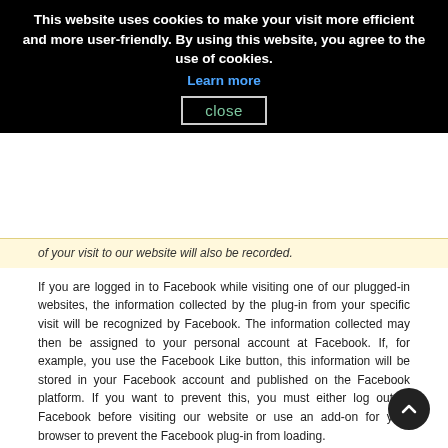This website uses cookies to make your visit more efficient and more user-friendly. By using this website, you agree to the use of cookies.
Learn more
close
of your visit to our website will also be recorded.
If you are logged in to Facebook while visiting one of our plugged-in websites, the information collected by the plug-in from your specific visit will be recognized by Facebook. The information collected may then be assigned to your personal account at Facebook. If, for example, you use the Facebook Like button, this information will be stored in your Facebook account and published on the Facebook platform. If you want to prevent this, you must either log out of Facebook before visiting our website or use an add-on for your browser to prevent the Facebook plug-in from loading.
Further information about the collection and use of data as well as your rights and protection options in Facebook's privacy policy found at
https://www.facebook.com/policy.php
Twitter plug-in